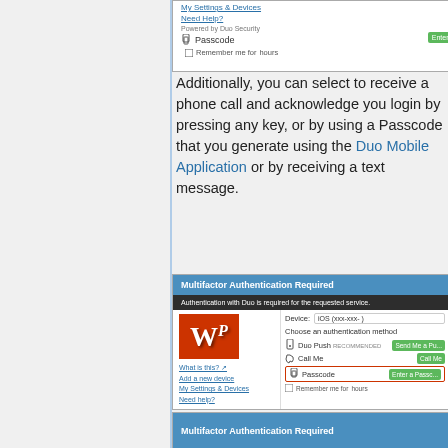[Figure (screenshot): Partial screenshot of Duo Multifactor Authentication UI showing Passcode option and Remember me for hours checkbox, with Enter a Passcode button]
Additionally, you can select to receive a phone call and acknowledge you login by pressing any key, or by using a Passcode that you generate using the Duo Mobile Application or by receiving a text message.
[Figure (screenshot): Screenshot of Multifactor Authentication Required dialog with Duo Push, Call Me, and Passcode options. Passcode row is highlighted with red border. Shows WP logo on left side.]
[Figure (screenshot): Top portion of another Multifactor Authentication Required dialog (blue header visible)]